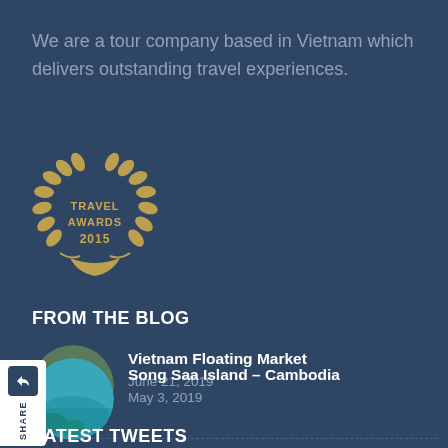We are a tour company based in Vietnam which delivers outstanding travel experiences.
[Figure (logo): Travel Awards 2015 gold laurel wreath badge]
FROM THE BLOG
[Figure (photo): Circular thumbnail photo of Vietnam floating market with boats]
Vietnam Floating Market
June 21, 2019
[Figure (photo): Circular thumbnail photo of Song Saa Island Cambodia with turquoise water]
Song Saa Island – Cambodia
May 3, 2019
LATEST TWEETS